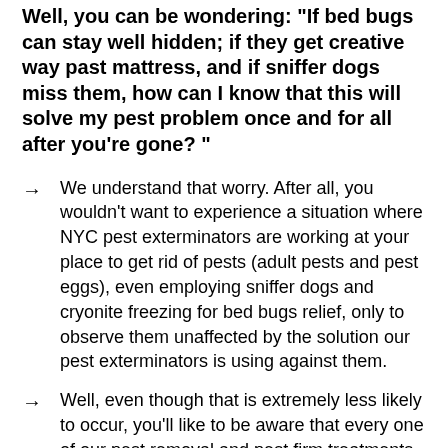Well, you can be wondering: "If bed bugs can stay well hidden; if they get creative way past mattress, and if sniffer dogs miss them, how can I know that this will solve my pest problem once and for all after you're gone? "
→ We understand that worry. After all, you wouldn't want to experience a situation where NYC pest exterminators are working at your place to get rid of pests (adult pests and pest eggs), even employing sniffer dogs and cryonite freezing for bed bugs relief, only to observe them unaffected by the solution our pest exterminators is using against them.
→ Well, even though that is extremely less likely to occur, you'll like to be aware that every one of our pest removal and pest firm treatments is fully guaranteed. You don't have to pay more than once to enjoy a 100% bed-bug-free final result. From all the pests